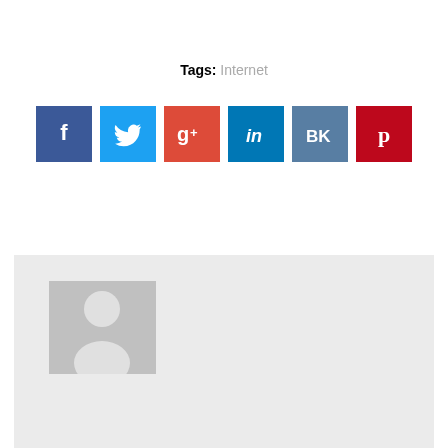Tags: Internet
[Figure (infographic): Row of six social media share buttons: Facebook (dark blue), Twitter (light blue), Google+ (red), LinkedIn (dark blue/teal), VK (slate blue), Pinterest (dark red)]
[Figure (photo): Author profile card with generic placeholder avatar (grey background with white silhouette person icon)]